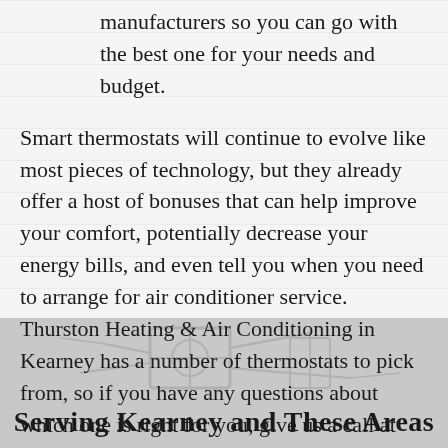manufacturers so you can go with the best one for your needs and budget.
Smart thermostats will continue to evolve like most pieces of technology, but they already offer a host of bonuses that can help improve your comfort, potentially decrease your energy bills, and even tell you when you need to arrange for air conditioner service. Thurston Heating & Air Conditioning in Kearney has a number of thermostats to pick from, so if you have any questions about which one is right for you, give us a call at 308-624-3485.
[Figure (photo): Gray background image showing HVAC/air conditioning equipment, partially visible at bottom of page]
Serving Kearney and These Areas